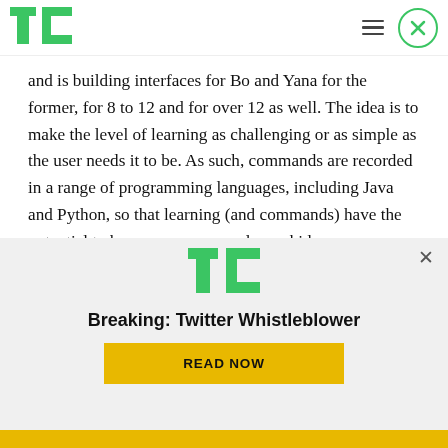TechCrunch header with logo, hamburger menu, and close button
and is building interfaces for Bo and Yana for the former, for 8 to 12 and for over 12 as well. The idea is to make the level of learning as challenging or as simple as the user needs it to be. As such, commands are recorded in a range of programming languages, including Java and Python, so that learning (and commands) have the potential to become more complex as kids progress.
[Figure (logo): TechCrunch TC logo in green, shown in banner overlay]
Breaking: Twitter Whistleblower
READ NOW